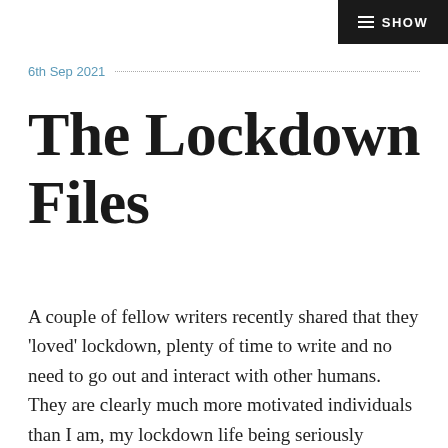SHOW
6th Sep 2021
The Lockdown Files
A couple of fellow writers recently shared that they 'loved' lockdown, plenty of time to write and no need to go out and interact with other humans. They are clearly much more motivated individuals than I am, my lockdown life being seriously unproductive in terms of writing anything of value